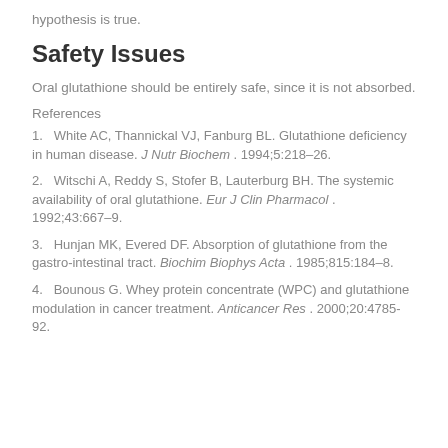hypothesis is true.
Safety Issues
Oral glutathione should be entirely safe, since it is not absorbed.
References
1.   White AC, Thannickal VJ, Fanburg BL. Glutathione deficiency in human disease. J Nutr Biochem . 1994;5:218–26.
2.   Witschi A, Reddy S, Stofer B, Lauterburg BH. The systemic availability of oral glutathione. Eur J Clin Pharmacol . 1992;43:667–9.
3.   Hunjan MK, Evered DF. Absorption of glutathione from the gastro-intestinal tract. Biochim Biophys Acta . 1985;815:184–8.
4.   Bounous G. Whey protein concentrate (WPC) and glutathione modulation in cancer treatment. Anticancer Res . 2000;20:4785-92.